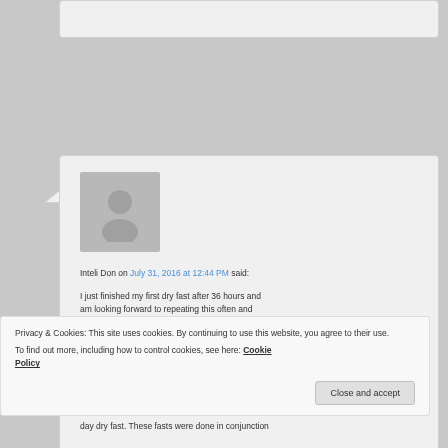[Figure (screenshot): Partial comment box visible at top of page, light gray background with border]
[Figure (screenshot): User avatar - gray silhouette placeholder image for Inteli Don]
Inteli Don on July 31, 2016 at 12:44 PM said:
I just finished my first dry fast after 36 hours and am looking forward to repeating this often and
day dry fast. These fasts were done in conjunction
Privacy & Cookies: This site uses cookies. By continuing to use this website, you agree to their use.
To find out more, including how to control cookies, see here: Cookie Policy
Close and accept